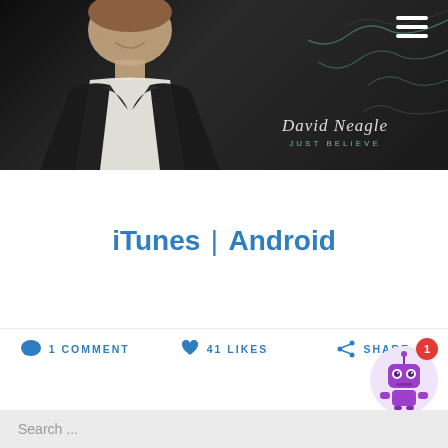[Figure (photo): Hero banner with a smiling man in a black suit and white shirt against a dark background, with decorative wave lines and artist name 'David Neagle - Just Believe' in cursive text on the right side. A hamburger menu icon is in the top right corner.]
iTunes | Android
1 COMMENT  41 LIKES  SHARE
Search ...